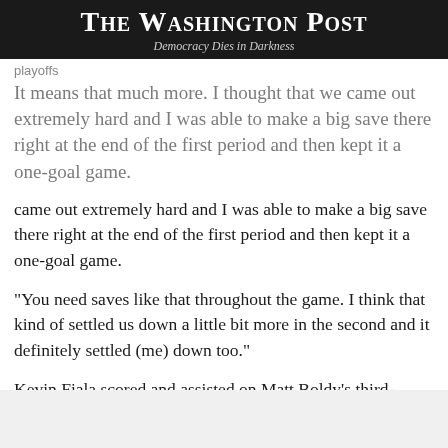The Washington Post
Democracy Dies in Darkness
playoffs
It means that much more. I thought that we came out extremely hard and I was able to make a big save there right at the end of the first period and then kept it a one-goal game.
"You need saves like that throughout the game. I think that kind of settled us down a little bit more in the second and it definitely settled (me) down too."
Kevin Fiala scored and assisted on Matt Boldy's third-period goal as the Wild improved to 48-21-7.
The Wild opened the scoring on the power play at 6:57 of the first period. Fiala one-timed Mats Zuccarello's pass in the slot to net his 30th goal of the season and seventh in his last six games.
Minnesota padded its lead at 2:29 of the third period when Boldy tucked the puck between his legs and scored from a tight angle.